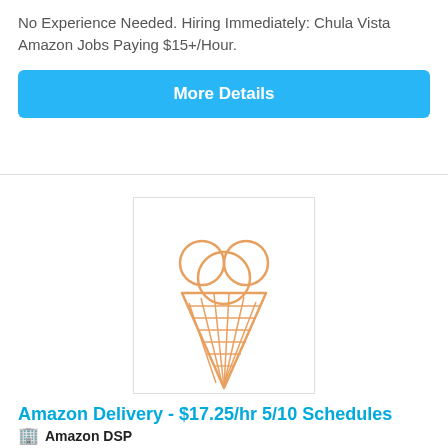No Experience Needed. Hiring Immediately: Chula Vista Amazon Jobs Paying $15+/Hour.
More Details
[Figure (illustration): Ice cream cone icon with three scoops, drawn in orange outline style]
Amazon Delivery - $17.25/hr 5/10 Schedules
Amazon DSP
Chula Vista, CA, US
**We are looking for enthusiastic team players to deliver Amazon packages.*Amazon Delivery Van Provided! Get hired today! No Experience Required!